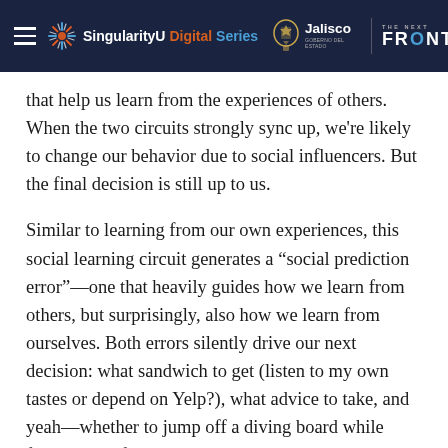SingularityU Digital Series | Jalisco | THE NEXT FRONTIER
that help us learn from the experiences of others. When the two circuits strongly sync up, we're likely to change our behavior due to social influencers. But the final decision is still up to us.
Similar to learning from our own experiences, this social learning circuit generates a “social prediction error”—one that heavily guides how we learn from others, but surprisingly, also how we learn from ourselves. Both errors silently drive our next decision: what sandwich to get (listen to my own tastes or depend on Yelp?), what advice to take, and yeah—whether to jump off a diving board while freaking out from peer pressure.
“Direct learning is efficient in stable